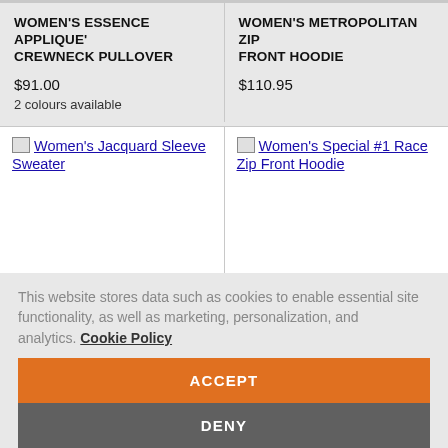WOMEN'S ESSENCE APPLIQUE' CREWNECK PULLOVER
$91.00
2 colours available
WOMEN'S METROPOLITAN ZIP FRONT HOODIE
$110.95
[Figure (other): Broken image placeholder for Women's Jacquard Sleeve Sweater with linked text]
[Figure (other): Broken image placeholder for Women's Special #1 Race Zip Front Hoodie with linked text]
This website stores data such as cookies to enable essential site functionality, as well as marketing, personalization, and analytics. Cookie Policy
ACCEPT
DENY